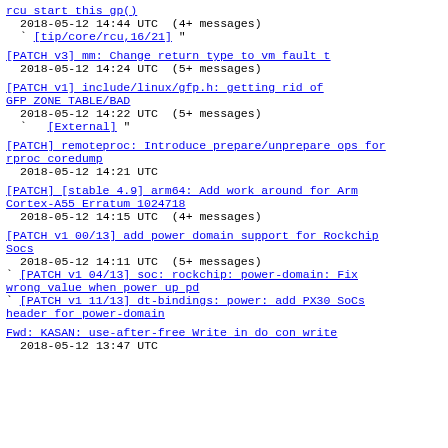rcu start this gp()
  2018-05-12 14:44 UTC  (4+ messages)
` [tip/core/rcu,16/21] "
[PATCH v3] mm: Change return type to vm fault t
  2018-05-12 14:24 UTC  (5+ messages)
[PATCH v1] include/linux/gfp.h: getting rid of GFP ZONE TABLE/BAD
  2018-05-12 14:22 UTC  (5+ messages)
`   [External] "
[PATCH] remoteproc: Introduce prepare/unprepare ops for rproc coredump
  2018-05-12 14:21 UTC
[PATCH] [stable 4.9] arm64: Add work around for Arm Cortex-A55 Erratum 1024718
  2018-05-12 14:15 UTC  (4+ messages)
[PATCH v1 00/13] add power domain support for Rockchip Socs
  2018-05-12 14:11 UTC  (5+ messages)
` [PATCH v1 04/13] soc: rockchip: power-domain: Fix wrong value when power up pd
` [PATCH v1 11/13] dt-bindings: power: add PX30 SoCs header for power-domain
Fwd: KASAN: use-after-free Write in do con write
  2018-05-12 13:47 UTC